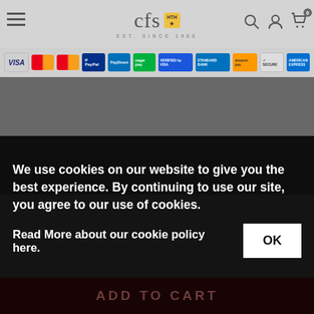cfs HTH EST. SINCE 1988 — Navigation header with payment logos
[Figure (screenshot): Dark grey hero image area placeholder]
We use cookies on our website to give you the best experience. By continuing to use our site, you agree to our use of cookies.
Read More about our cookie policy here.
ADD TO CART